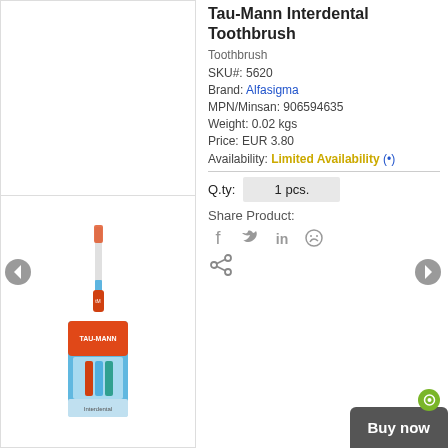[Figure (photo): Product image area - top empty white panel, bottom showing two product thumbnails of Tau-Mann interdental toothbrush]
Tau-Mann Interdental Toothbrush
Toothbrush
SKU#: 5620
Brand: Alfasigma
MPN/Minsan: 906594635
Weight: 0.02 kgs
Price: EUR 3.80
Availability: Limited Availability (•)
Q.ty: 1 pcs.
Share Product: